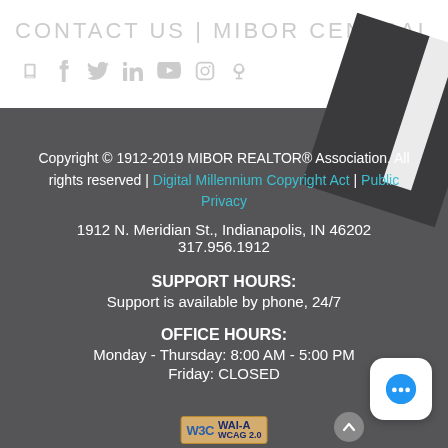CONTACT US | MIBOR CENTRAL
[Figure (other): Social media icons row: blog, Facebook, Twitter, LinkedIn, YouTube, Instagram, Podcast]
Copyright © 1912-2019 MIBOR REALTOR® Association. All rights reserved | Digital Millennium Copyright Act | Public Privacy
1912 N. Meridian St., Indianapolis, IN 46202
317.956.1912
SUPPORT HOURS:
Support is available by phone, 24/7
OFFICE HOURS:
Monday - Thursday: 8:00 AM - 5:00 PM
Friday: CLOSED
[Figure (logo): W3C WAI-A WCAG 2.0 accessibility badge]